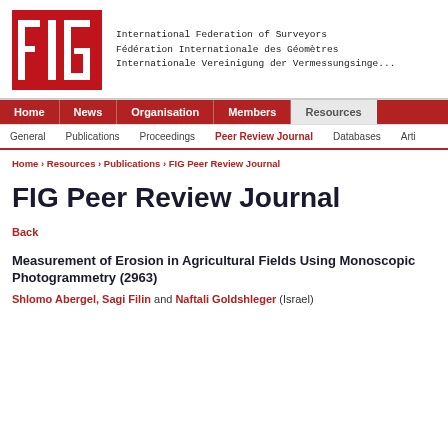[Figure (logo): FIG logo — red background with white letters F I G in blocky style with vertical dividers]
International Federation of Surveyors
Fédération Internationale des Géomètres
Internationale Vereinigung der Vermessungsingenieure
Home | News | Organisation | Members | Resources
General | Publications | Proceedings | Peer Review Journal | Databases | Arti...
Home › Resources › Publications › FIG Peer Review Journal
FIG Peer Review Journal
Back
Measurement of Erosion in Agricultural Fields Using Monoscopic Photogrammetry (2963)
Shlomo Abergel, Sagi Filin and Naftali Goldshleger (Israel)